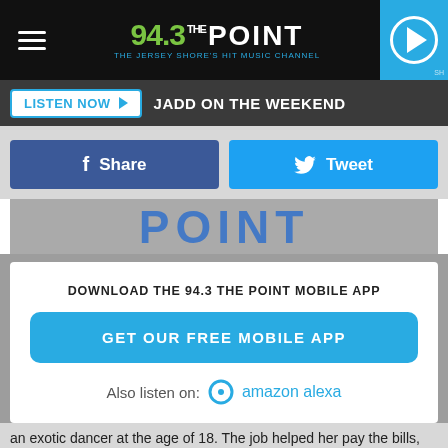[Figure (screenshot): 94.3 The Point radio station logo with tagline 'The Jersey Shore's Hit Music Channel' on black navigation bar with hamburger menu and play button]
LISTEN NOW ▶  JADD ON THE WEEKEND
Share   Tweet
[Figure (logo): Partial 94.3 The Point logo showing 'POINT' text in blue]
DOWNLOAD THE 94.3 THE POINT MOBILE APP
GET OUR FREE MOBILE APP
Also listen on:  amazon alexa
an exotic dancer at the age of 18. The job helped her pay the bills, but the rapper told Complex she stopped stripping in